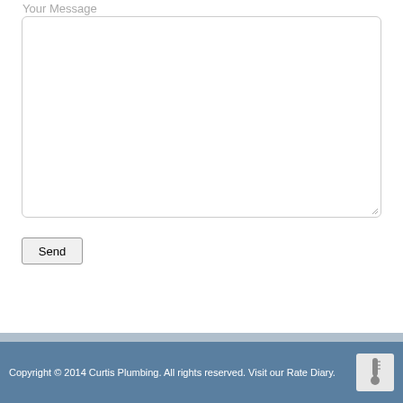Your Message
[Figure (screenshot): Empty textarea form field with rounded border and resize handle]
Send
Copyright © 2014 Curtis Plumbing. All rights reserved. Visit our Rate Diary.